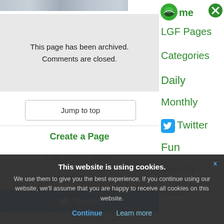[Figure (photo): Partial photograph strip at top of left column]
This page has been archived.
Comments are closed.
Jump to top
Create a Page
LGF User's Guide
RSS Feeds
Tweet
Help support Little Green Footballs
[Figure (logo): LGF football logo icon (green) in sidebar]
me
[Figure (logo): Red X close button in sidebar]
LGF Pages
Categories
Daily
Monthly
[Figure (logo): Twitter bird icon (blue square) in sidebar]
Twitter
Fun
Search
About
This website is using cookies.
We use them to give you the best experience. If you continue using our website, we'll assume that you are happy to receive all cookies on this website.
Continue
Learn more